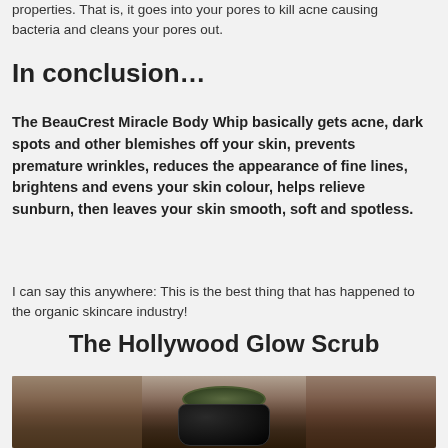properties. That is, it goes into your pores to kill acne causing bacteria and cleans your pores out.
In conclusion…
The BeauCrest Miracle Body Whip basically gets acne, dark spots and other blemishes off your skin, prevents premature wrinkles, reduces the appearance of fine lines, brightens and evens your skin colour, helps relieve sunburn, then leaves your skin smooth, soft and spotless.
I can say this anywhere: This is the best thing that has happened to the organic skincare industry!
The Hollywood Glow Scrub
[Figure (photo): A dark jar of The Hollywood Glow Scrub product on a wooden surface with floral elements in the background.]